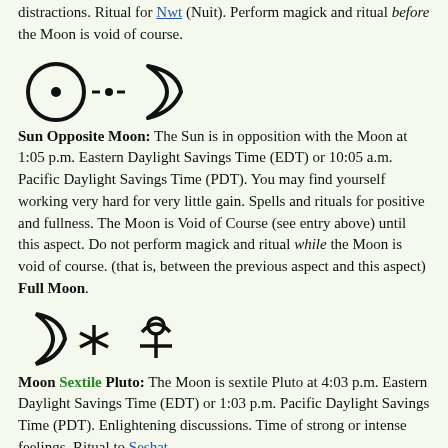distractions. Ritual for Nwt (Nuit). Perform magick and ritual before the Moon is void of course.
Sun Opposite Moon: The Sun is in opposition with the Moon at 1:05 p.m. Eastern Daylight Savings Time (EDT) or 10:05 a.m. Pacific Daylight Savings Time (PDT). You may find yourself working very hard for very little gain. Spells and rituals for positive and fullness. The Moon is Void of Course (see entry above) until this aspect. Do not perform magick and ritual while the Moon is void of course. (that is, between the previous aspect and this aspect) Full Moon.
Moon Sextile Pluto: The Moon is sextile Pluto at 4:03 p.m. Eastern Daylight Savings Time (EDT) or 1:03 p.m. Pacific Daylight Savings Time (PDT). Enlightening discussions. Time of strong or intense feelings. Ritual to Seshat.
Moon Quincunx Saturn: The Moon is quincunx Saturn at 4:53 p.m. Eastern Daylight